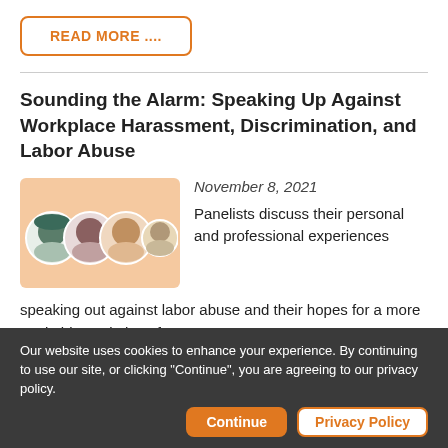READ MORE ...
Sounding the Alarm: Speaking Up Against Workplace Harassment, Discrimination, and Labor Abuse
[Figure (illustration): Panel image showing four circular portrait photos of women on a light orange/peach background]
November 8, 2021
Panelists discuss their personal and professional experiences speaking out against labor abuse and their hopes for a more equitable workplace for women.
READ MORE ...
Our website uses cookies to enhance your experience. By continuing to use our site, or clicking "Continue", you are agreeing to our privacy policy.